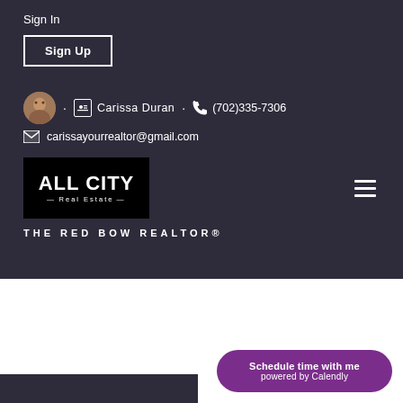Sign In
Sign Up
Carissa Duran • (702)335-7306
carissayourrealtor@gmail.com
[Figure (logo): ALL CITY Real Estate logo — black rectangle with white bold text 'ALL CITY' and 'Real Estate' below with decorative lines]
THE RED BOW REALTOR®
Schedule time with me
powered by Calendly